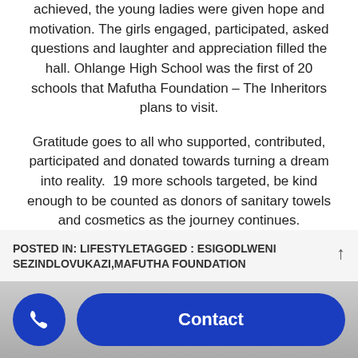achieved, the young ladies were given hope and motivation. The girls engaged, participated, asked questions and laughter and appreciation filled the hall. Ohlange High School was the first of 20 schools that Mafutha Foundation – The Inheritors plans to visit.
Gratitude goes to all who supported, contributed, participated and donated towards turning a dream into reality.  19 more schools targeted, be kind enough to be counted as donors of sanitary towels and cosmetics as the journey continues.
POSTED IN: LIFESTYLETAGGED : ESIGODLWENI SEZINDLOVUKAZI,MAFUTHA FOUNDATION